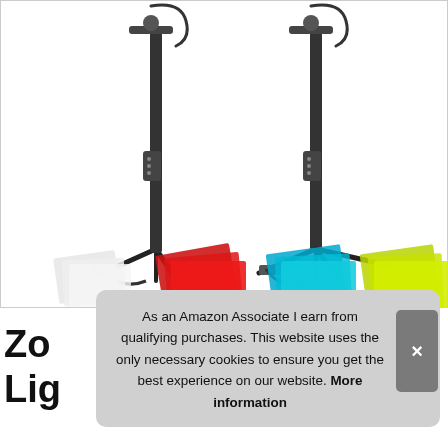[Figure (photo): Two LED ring light tripod stands with color filter gels (white, red, blue/cyan, yellow-green) displayed below. Each stand is black with adjustable height, USB cable, and small tripod base.]
Zo
Lig
As an Amazon Associate I earn from qualifying purchases. This website uses the only necessary cookies to ensure you get the best experience on our website. More information